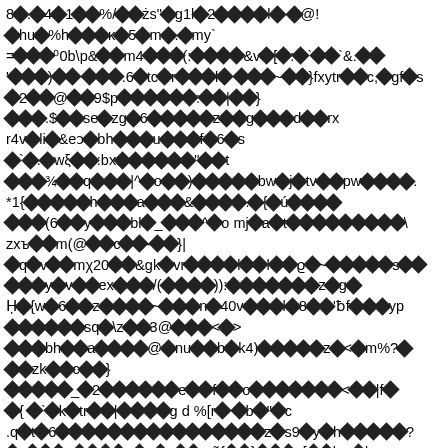Corrupted/encoded text content with diamond replacement characters interspersed throughout multiple lines of garbled text strings containing symbols, numbers, and partial words.